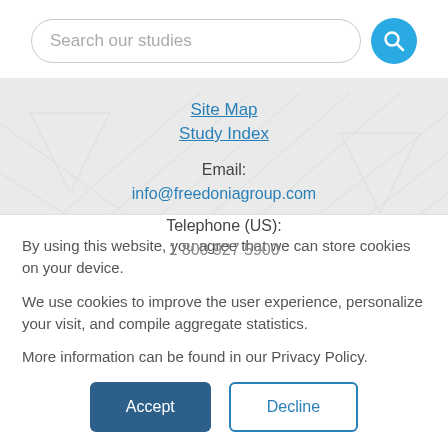[Figure (screenshot): Search bar with placeholder text 'Search our studies' and a blue circular search button with magnifying glass icon]
Site Map
Study Index
Email: info@freedoniagroup.com
Telephone (US): 1 800 927 5900
By using this website, you agree that we can store cookies on your device.

We use cookies to improve the user experience, personalize your visit, and compile aggregate statistics.

More information can be found in our Privacy Policy.
Accept
Decline